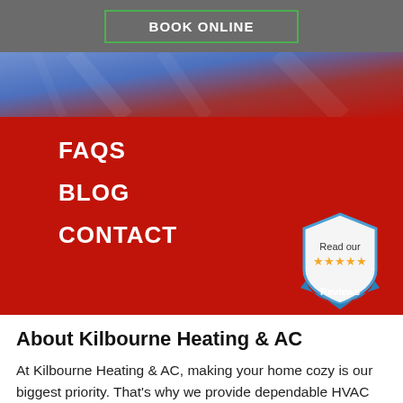BOOK ONLINE
[Figure (photo): Blue and red gradient hero image background, possibly HVAC equipment or abstract]
FAQS
BLOG
CONTACT
[Figure (illustration): Shield-shaped review badge with blue border, reading 'Read our' with five gold stars and 'Reviews' on a blue ribbon]
About Kilbourne Heating & AC
At Kilbourne Heating & AC, making your home cozy is our biggest priority. That's why we provide dependable HVAC equipment and excellent work in Delray Beach. Our techs are skilled in a complete range of services, so you can be confident in your